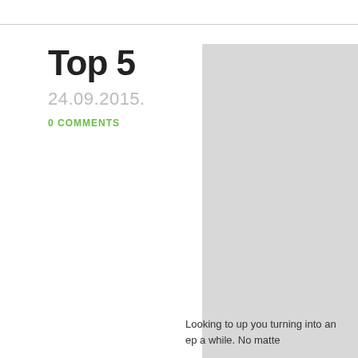Top 5
24.09.2015.
0 COMMENTS
[Figure (photo): A person photographed against a light gray background, cropped with the head and shoulders partially visible at the bottom right of the image area.]
Looking to up you turning into an ep a while. No matte